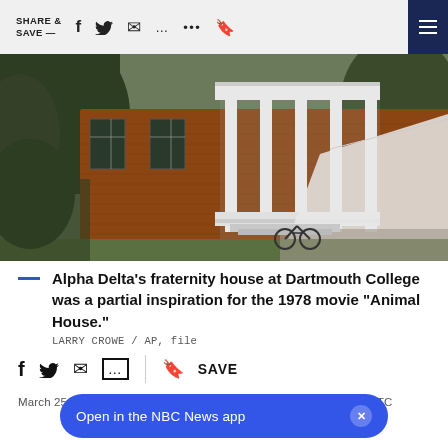SHARE & SAVE —
[Figure (photo): Alpha Delta's fraternity house at Dartmouth College — a red brick building with white columns and porches, with a large white tent visible to the right and trees surrounding the structure.]
Alpha Delta's fraternity house at Dartmouth College was a partial inspiration for the 1978 movie "Animal House."
LARRY CROWE / AP, file
March 25, 2015  5:06 PM UTC / Updated March 25, 2015, 6:16 PM UTC